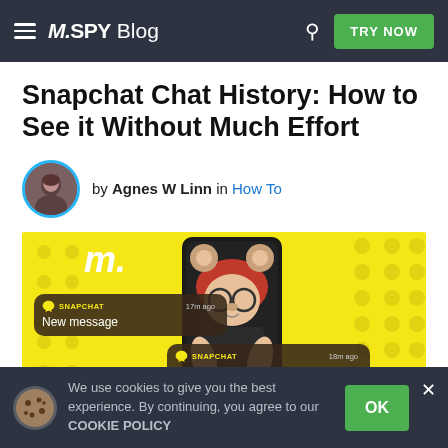M.SPY Blog | TRY NOW
Snapchat Chat History: How to See it Without Much Effort
by Agnes W Linn in How To
[Figure (screenshot): Hero image showing a woman with a Snapchat bear filter holding a phone, yellow background with dot pattern, and two Snapchat notification overlays reading 'New message' with timestamps '17m ago' and '18m ago']
We use cookies to give you the best experience. By continuing, you agree to our COOKIE POLICY